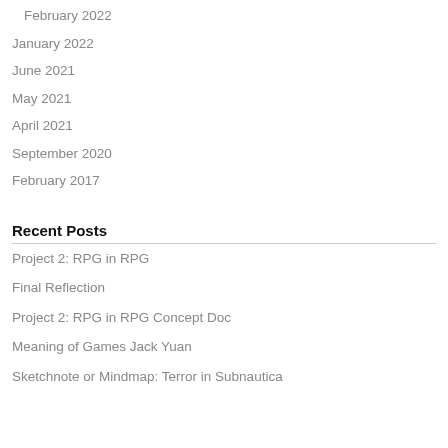February 2022
January 2022
June 2021
May 2021
April 2021
September 2020
February 2017
Recent Posts
Project 2: RPG in RPG
Final Reflection
Project 2: RPG in RPG Concept Doc
Meaning of Games Jack Yuan
Sketchnote or Mindmap: Terror in Subnautica